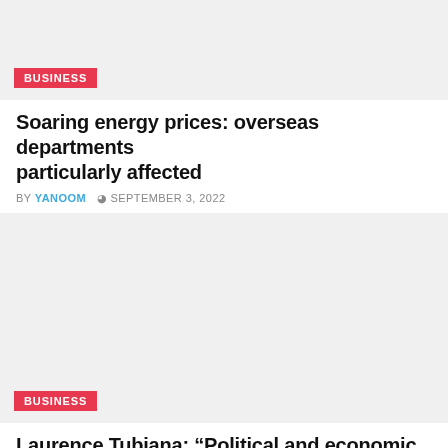[Figure (photo): Article thumbnail image with light gray background]
BUSINESS
Soaring energy prices: overseas departments particularly affected
BY YANOOM  © SEPTEMBER 3, 2022
[Figure (photo): Article thumbnail image with light gray background]
BUSINESS
Laurence Tubiana: “Political and economic leaders are in denial of the climate emergency”